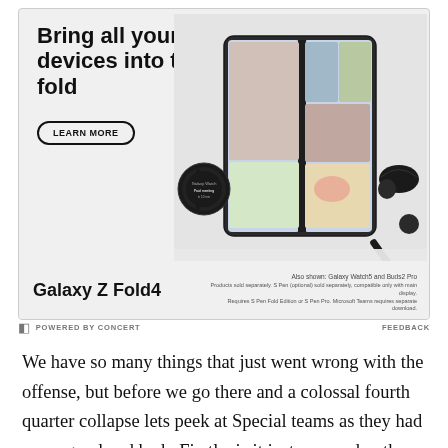[Figure (illustration): Samsung Galaxy Z Fold4 advertisement showing headline 'Bring all your devices into the fold', a LEARN MORE button, and Samsung Galaxy Z Fold4 device with Galaxy Watch5 and Buds2 Pro. Bottom text: 'Galaxy Z Fold4', 'Also shown: Galaxy Watch5 and Buds2 Pro. Products sold separately. S Pen (optional) sold separately, compatible only with main display. Requires S Pen Fold Edition or S Pen Pro. Microsoft Teams requires separate download.']
POWERED BY CONCERT    FEEDBACK
We have so many things that just went wrong with the offense, but before we go there and a colossal fourth quarter collapse lets peek at Special teams as they had some good and bad.  Firstly, is it just me, or do other people just expect us to block Field Goals now?  Seriously, it's four in four games and five if you count